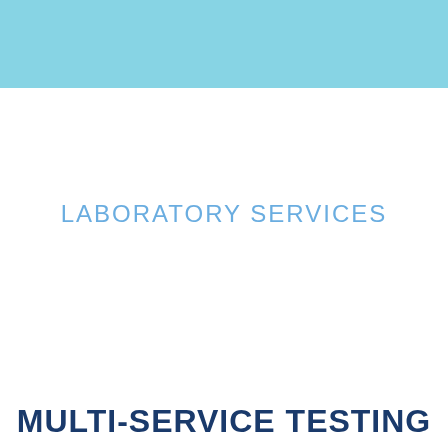[Figure (other): Light blue decorative header bar spanning the full width at the top of the page]
LABORATORY SERVICES
MULTI-SERVICE TESTING